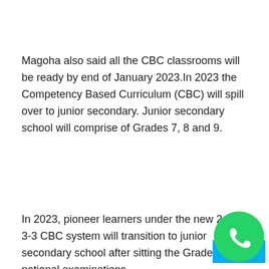Magoha also said all the CBC classrooms will be ready by end of January 2023.In 2023 the Competency Based Curriculum (CBC) will spill over to junior secondary. Junior secondary school will comprise of Grades 7, 8 and 9.
In 2023, pioneer learners under the new 2-6-3-3-3 CBC system will transition to junior secondary school after sitting the Grade Six national examinations.
[Figure (logo): WhatsApp logo icon — green circle with white phone handset]